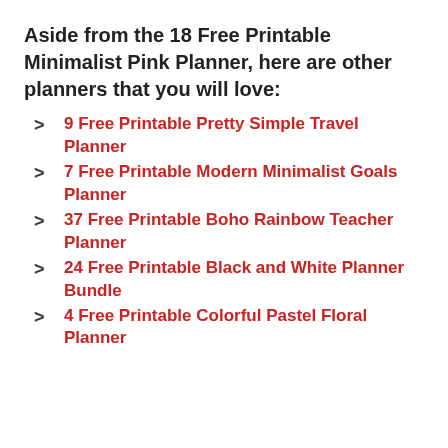Aside from the 18 Free Printable Minimalist Pink Planner, here are other planners that you will love:
9 Free Printable Pretty Simple Travel Planner
7 Free Printable Modern Minimalist Goals Planner
37 Free Printable Boho Rainbow Teacher Planner
24 Free Printable Black and White Planner Bundle
4 Free Printable Colorful Pastel Floral Planner